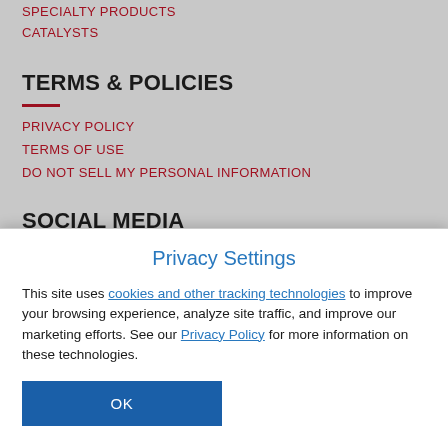SPECIALTY PRODUCTS
CATALYSTS
TERMS & POLICIES
PRIVACY POLICY
TERMS OF USE
DO NOT SELL MY PERSONAL INFORMATION
SOCIAL MEDIA
Privacy Settings
This site uses cookies and other tracking technologies to improve your browsing experience, analyze site traffic, and improve our marketing efforts. See our Privacy Policy for more information on these technologies.
OK